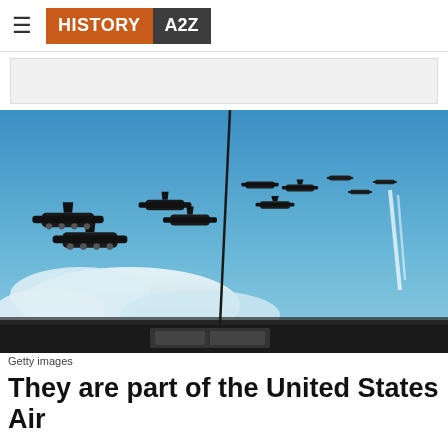HISTORY A2Z
[Figure (photo): Formation of military transport aircraft (C-130 Hercules type) flying in formation against a blue sky with clouds, photographed from inside another aircraft showing part of the cockpit/windscreen and an antenna.]
Getty images
They are part of the United States Air